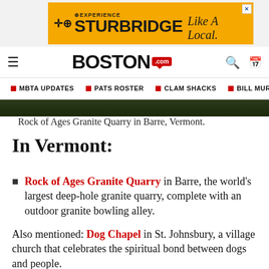[Figure (other): Experience Sturbridge Like A Local advertisement banner with yellow background]
BOSTON.com
MBTA UPDATES  PATS ROSTER  CLAM SHACKS  BILL MURR
[Figure (photo): Rock of Ages Granite Quarry in Barre, Vermont - dark forested image strip]
Rock of Ages Granite Quarry in Barre, Vermont.
In Vermont:
Rock of Ages Granite Quarry in Barre, the world's largest deep-hole granite quarry, complete with an outdoor granite bowling alley.
Also mentioned: Dog Chapel in St. Johnsbury, a village church that celebrates the spiritual bond between dogs and people.